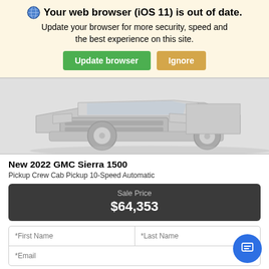Your web browser (iOS 11) is out of date. Update your browser for more security, speed and the best experience on this site. Update browser | Ignore
[Figure (photo): Front view of a white 2022 GMC Sierra 1500 pickup truck on a light gray background]
New 2022 GMC Sierra 1500
Pickup Crew Cab Pickup 10-Speed Automatic
Sale Price $64,353
*First Name  *Last Name
*Email